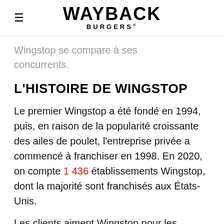WAYBACK BURGERS
Wingstop se compare à ses concurrents.
L'HISTOIRE DE WINGSTOP
Le premier Wingstop a été fondé en 1994, puis, en raison de la popularité croissante des ailes de poulet, l'entreprise privée a commencé à franchiser en 1998. En 2020, on compte 1 436 établissements Wingstop, dont la majorité sont franchisés aux États-Unis.
Les clients aiment Wingstop pour les saveurs de ses ailes, qui sont uniques